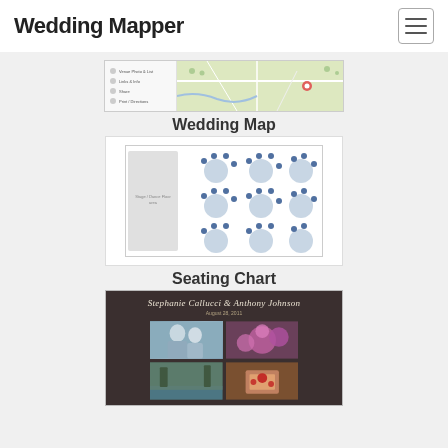Wedding Mapper
[Figure (screenshot): Screenshot of Wedding Mapper map interface showing sidebar with menu options and a map area]
Wedding Map
[Figure (screenshot): Seating chart diagram showing round tables with guest name labels arranged across a venue floor plan]
Seating Chart
[Figure (screenshot): Wedding photo collage page for Stephanie Callucci & Anthony Johnson, August 28, 2011, with four photos: couple portrait, flowers, stream/nature, and dessert]